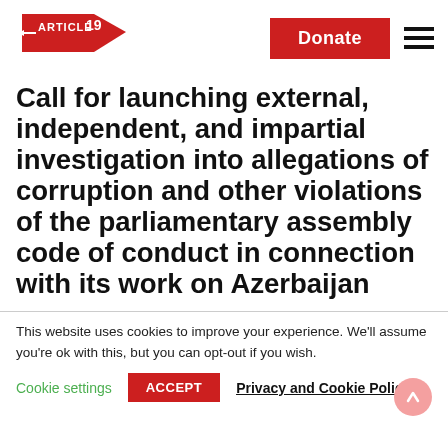[Figure (logo): ARTICLE 19 logo — red angular flag shape with white text ARTICLE 19]
Donate
Call for launching external, independent, and impartial investigation into allegations of corruption and other violations of the parliamentary assembly code of conduct in connection with its work on Azerbaijan
This website uses cookies to improve your experience. We'll assume you're ok with this, but you can opt-out if you wish.
Cookie settings
ACCEPT
Privacy and Cookie Policy